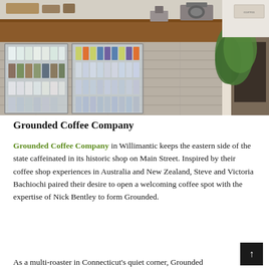[Figure (photo): Interior photo of Grounded Coffee Company showing a rustic wooden bar counter with refrigerated display cases containing bottles and beverages, espresso equipment on top, and green plants on the right side.]
Grounded Coffee Company
Grounded Coffee Company in Willimantic keeps the eastern side of the state caffeinated in its historic shop on Main Street. Inspired by their coffee shop experiences in Australia and New Zealand, Steve and Victoria Bachiochi paired their desire to open a welcoming coffee spot with the expertise of Nick Bentley to form Grounded.
As a multi-roaster in Connecticut's quiet corner, Grounded